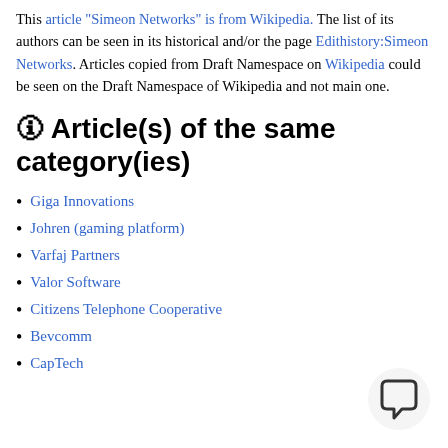This article "Simeon Networks" is from Wikipedia. The list of its authors can be seen in its historical and/or the page Edithistory:Simeon Networks. Articles copied from Draft Namespace on Wikipedia could be seen on the Draft Namespace of Wikipedia and not main one.
🛈 Article(s) of the same category(ies)
Giga Innovations
Johren (gaming platform)
Varfaj Partners
Valor Software
Citizens Telephone Cooperative
Bevcomm
CapTech